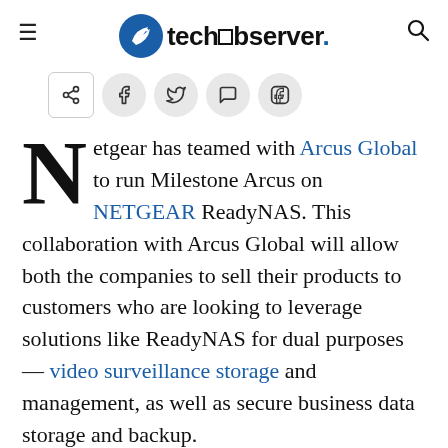techobserver.
[Figure (other): Social sharing bar with share, Facebook, Twitter, WhatsApp, and LinkedIn icons]
Netgear has teamed with Arcus Global to run Milestone Arcus on NETGEAR ReadyNAS. This collaboration with Arcus Global will allow both the companies to sell their products to customers who are looking to leverage solutions like ReadyNAS for dual purposes — video surveillance storage and management, as well as secure business data storage and backup.
The combined solution from NETGEAR and